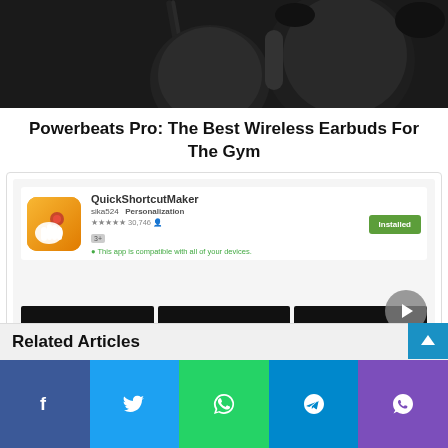[Figure (photo): Top portion of Powerbeats Pro wireless earbuds product photo on dark background]
Powerbeats Pro: The Best Wireless Earbuds For The Gym
[Figure (screenshot): Screenshot of QuickShortcutMaker app on Google Play Store showing app icon, rating 30,746 reviews, Installed button, and three app screenshots]
Quick Shortcut Maker App
Related Articles